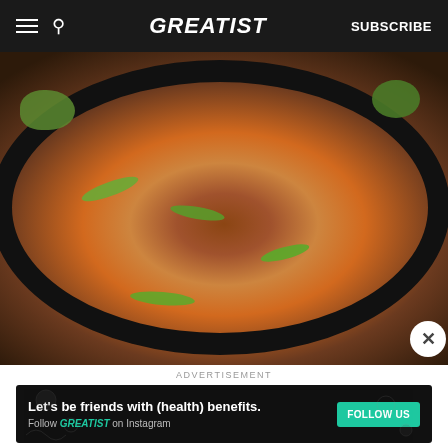GREATIST  SUBSCRIBE
[Figure (photo): Overhead view of a dark bowl containing stir-fried tofu cubes with orange vegetable noodles (likely sweet potato), garnished with sliced green scallions, sesame seeds, and fresh herbs. Lime wedges visible in the background.]
ADVERTISEMENT
[Figure (screenshot): Advertisement banner: 'Let’s be friends with (health) benefits. Follow GREATIST on Instagram' with a green FOLLOW US button.]